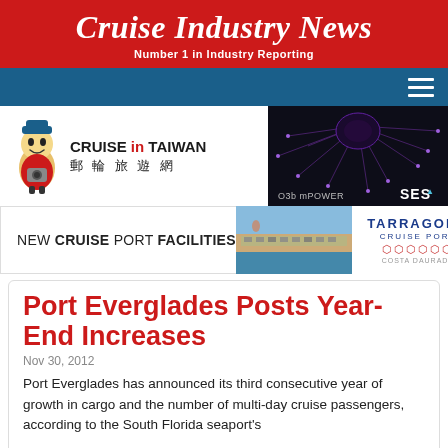Cruise Industry News
Number 1 in Industry Reporting
[Figure (logo): Cruise in Taiwan logo with mascot character and Chinese text 郵輪旅遊網]
[Figure (photo): O3b mPOWER by SES advertisement with dark purple network/satellite graphic on black background]
[Figure (infographic): New Cruise Port Facilities advertisement featuring Tarragona Cruise Port, Costa Daurada, with aerial photo of port]
Port Everglades Posts Year-End Increases
Nov 30, 2012
Port Everglades has announced its third consecutive year of growth in cargo and the number of multi-day cruise passengers, according to the South Florida seaport's